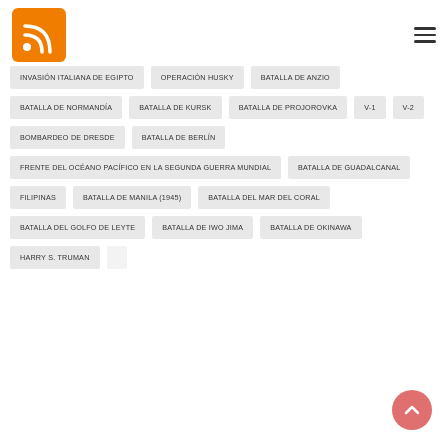RSS icon and hamburger menu
INVASIÓN ITALIANA DE EGIPTO
OPERACIÓN HUSKY
BATALLA DE ANZIO
BATALLA DE NORMANDÍA
BATALLA DE KURSK
BATALLA DE PROJOROVKA
V-1
V-2
BOMBARDEO DE DRESDE
BATALLA DE BERLÍN
FRENTE DEL OCÉANO PACÍFICO EN LA SEGUNDA GUERRA MUNDIAL
BATALLA DE GUADALCANAL
FILIPINAS
BATALLA DE MANILA (1945)
BATALLA DEL MAR DEL CORAL
BATALLA DEL GOLFO DE LEYTE
BATALLA DE IWO JIMA
BATALLA DE OKINAWA
HARRY S. TRUMAN